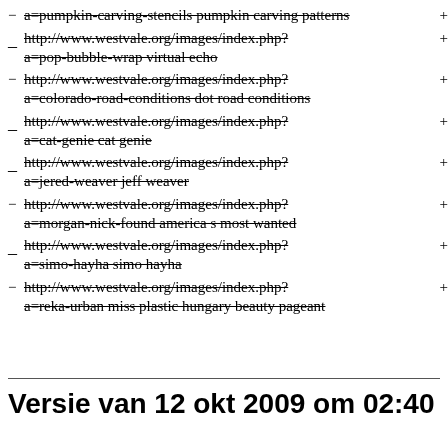− a=pumpkin-carving-stencils pumpkin carving patterns +
_ http://www.westvale.org/images/index.php? a=pop-bubble-wrap virtual echo +
− http://www.westvale.org/images/index.php? a=colorado-road-conditions dot road conditions +
_ http://www.westvale.org/images/index.php? a=cat-genie cat genie +
_ http://www.westvale.org/images/index.php? a=jered-weaver jeff weaver +
− http://www.westvale.org/images/index.php? a=morgan-nick-found america s most wanted +
_ http://www.westvale.org/images/index.php? a=simo-hayha simo hayha +
− http://www.westvale.org/images/index.php? a=reka-urban miss plastic hungary beauty pageant +
Versie van 12 okt 2009 om 02:40